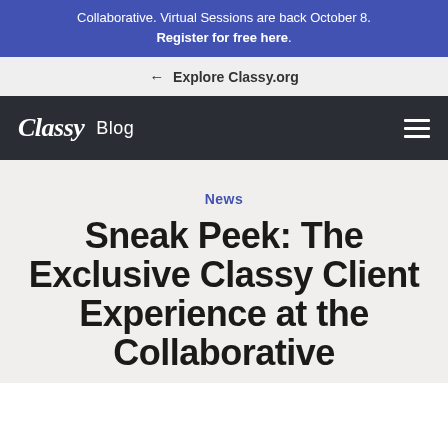Collaborative. Virtual Sessions are back October 8. Register for free here.
← Explore Classy.org
Classy Blog
News
Sneak Peek: The Exclusive Classy Client Experience at the Collaborative